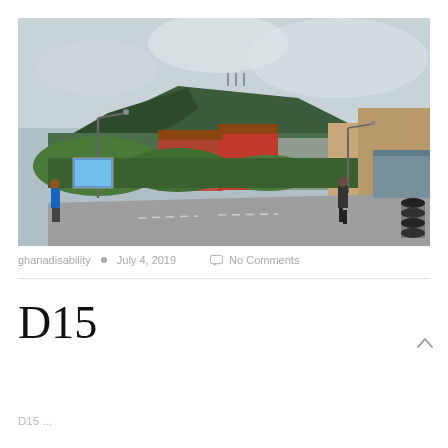[Figure (photo): Street scene in Ghana showing a wide road with street lamps, a hill/mesa in the background, buildings including a red structure and various shops, greenery, a person in a blue shirt on the left, a person walking away on the right, and a stack of tyres on the far right. Overcast sky.]
ghanadisability  •  July 4, 2019     No Comments
D15
D15 ...